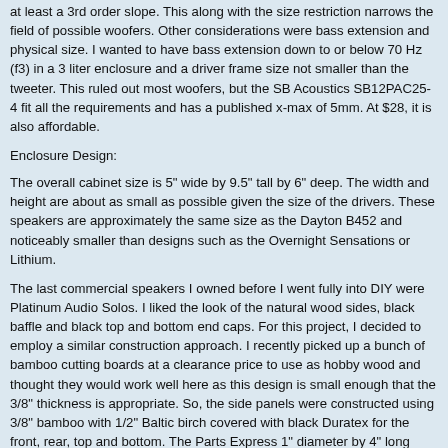at least a 3rd order slope. This along with the size restriction narrows the field of possible woofers. Other considerations were bass extension and physical size. I wanted to have bass extension down to or below 70 Hz (f3) in a 3 liter enclosure and a driver frame size not smaller than the tweeter. This ruled out most woofers, but the SB Acoustics SB12PAC25-4 fit all the requirements and has a published x-max of 5mm. At $28, it is also affordable.
Enclosure Design:
The overall cabinet size is 5" wide by 9.5" tall by 6" deep. The width and height are about as small as possible given the size of the drivers. These speakers are approximately the same size as the Dayton B452 and noticeably smaller than designs such as the Overnight Sensations or Lithium.
The last commercial speakers I owned before I went fully into DIY were Platinum Audio Solos. I liked the look of the natural wood sides, black baffle and black top and bottom end caps. For this project, I decided to employ a similar construction approach. I recently picked up a bunch of bamboo cutting boards at a clearance price to use as hobby wood and thought they would work well here as this design is small enough that the 3/8" thickness is appropriate. So, the side panels were constructed using 3/8" bamboo with 1/2" Baltic birch covered with black Duratex for the front, rear, top and bottom. The Parts Express 1" diameter by 4" long flared port (part number 260-470) tunes this cabinet to about 65 Hz.
I was concerned about the bamboo panels being too resonant, so I applied roof repair sheet to the interior surfaces of the side panels and then wedged a couple of plywood strips between the side panels I also added a chunk of R-13 Ultratouch denim fiber insulation to the rear of the enclosure. I decided to make the rear panel removable, which I did by using plywood strips at the top and bottom of the rear of the cabinet